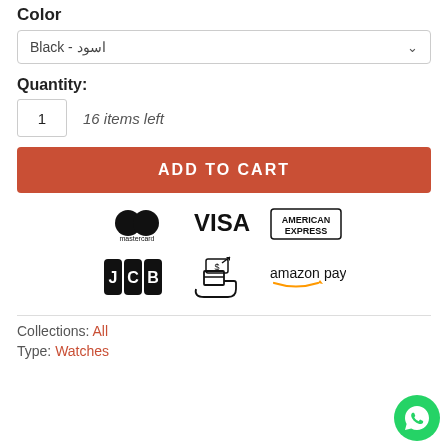Color
Black - اسود
Quantity:
1   16 items left
ADD TO CART
[Figure (logo): Payment method logos: Mastercard, Visa, American Express, JCB, Cash/delivery icon, Amazon Pay]
Collections: All
Type: Watches